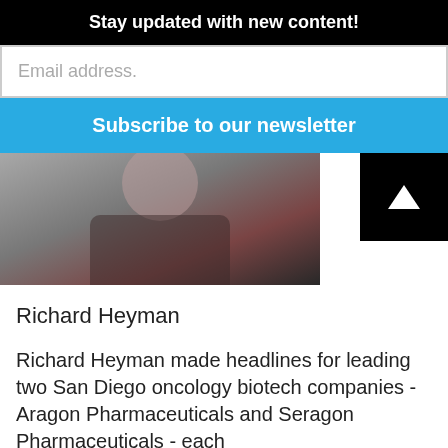Stay updated with new content!
Email address.
Subscribe to our newsletter
[Figure (photo): Portrait photo of a smiling middle-aged man in a black blazer and red/maroon shirt against a grey background]
Richard Heyman
Richard Heyman made headlines for leading two San Diego oncology biotech companies - Aragon Pharmaceuticals and Seragon Pharmaceuticals - each